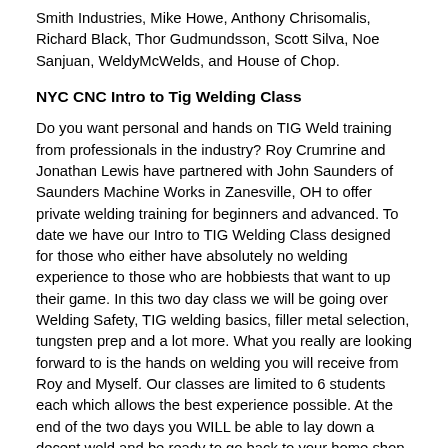Smith Industries, Mike Howe, Anthony Chrisomalis, Richard Black, Thor Gudmundsson, Scott Silva, Noe Sanjuan, WeldyMcWelds, and House of Chop.
NYC CNC Intro to Tig Welding Class
Do you want personal and hands on TIG Weld training from professionals in the industry? Roy Crumrine and Jonathan Lewis have partnered with John Saunders of Saunders Machine Works in Zanesville, OH to offer private welding training for beginners and advanced. To date we have our Intro to TIG Welding Class designed for those who either have absolutely no welding experience to those who are hobbiests that want to up their game. In this two day class we will be going over Welding Safety, TIG welding basics, filler metal selection, tungsten prep and a lot more. What you really are looking forward to is the hands on welding you will receive from Roy and Myself. Our classes are limited to 6 students each which allows the best experience possible. At the end of the two days you WILL be able to lay down a decent weld and be ready to go back to your home shop and build on the knowledge we gave to you.
Find more information at www.learntig.com